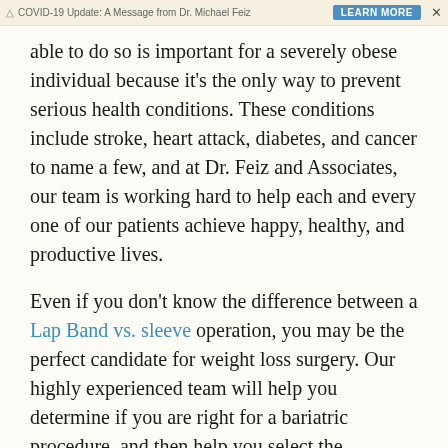⚠ COVID-19 Update: A Message from Dr. Michael Feiz   [Learn More]   ✕
able to do so is important for a severely obese individual because it's the only way to prevent serious health conditions. These conditions include stroke, heart attack, diabetes, and cancer to name a few, and at Dr. Feiz and Associates, our team is working hard to help each and every one of our patients achieve happy, healthy, and productive lives.
Even if you don't know the difference between a Lap Band vs. sleeve operation, you may be the perfect candidate for weight loss surgery. Our highly experienced team will help you determine if you are right for a bariatric procedure, and then help you select the procedure that's best suited to your own individual needs.
Because our team includes Dr. Michael Feiz, a well-known and highly respected surgeon, you can talk